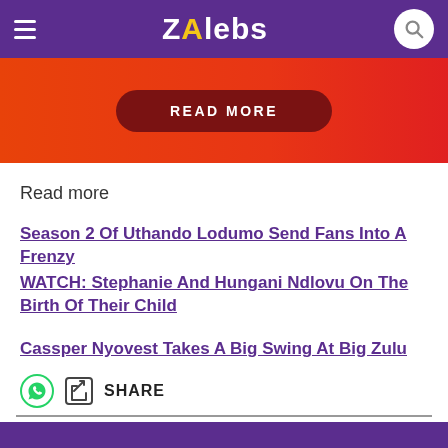ZAlebs
[Figure (other): Red/orange gradient banner with a dark red rounded button labeled READ MORE]
Read more
Season 2 Of Uthando Lodumo Send Fans Into A Frenzy
WATCH: Stephanie And Hungani Ndlovu On The Birth Of Their Child
Cassper Nyovest Takes A Big Swing At Big Zulu
SHARE